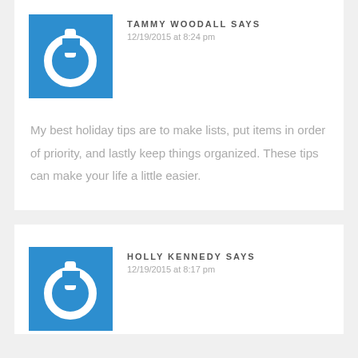[Figure (logo): Blue square avatar with white power button icon]
TAMMY WOODALL SAYS
12/19/2015 at 8:24 pm
My best holiday tips are to make lists, put items in order of priority, and lastly keep things organized. These tips can make your life a little easier.
[Figure (logo): Blue square avatar with white power button icon]
HOLLY KENNEDY SAYS
12/19/2015 at 8:17 pm